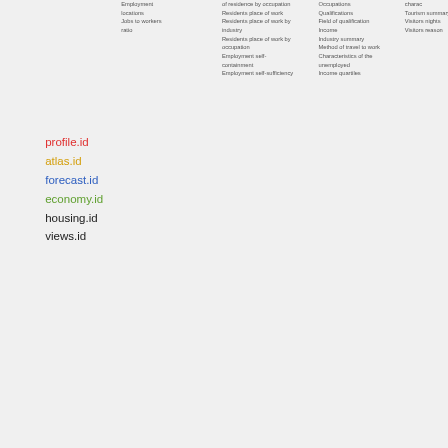Employment locations
Jobs to workers ratio
of residence by occupation
Residents place of work
Residents place of work by industry
Residents place of work by occupation
Employment self-containment
Employment self-sufficiency
Occupations
Qualifications
Field of qualification
Income
Industry summary
Method of travel to work
Characteristics of the unemployed
Income quartiles
charac
Tourism summary
Visitors nights
Visitors reason
profile.id
atlas.id
forecast.id
economy.id
housing.id
views.id